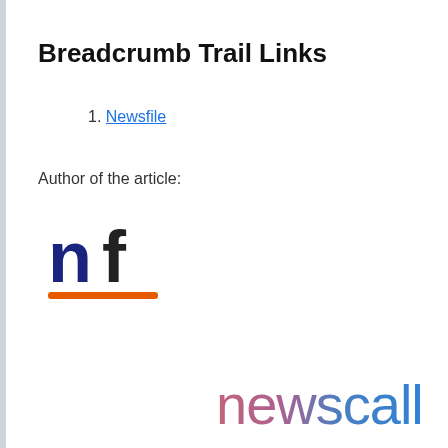Breadcrumb Trail Links
1. Newsfile
Author of the article:
[Figure (logo): Newsfile logo: bold lowercase 'nf' with 'n' in dark navy/blue and 'f' in dark charcoal, with an orange underline bar beneath]
[Figure (logo): Newscall logo in gradient text from pink/red on left to blue on right, lowercase 'newscall']